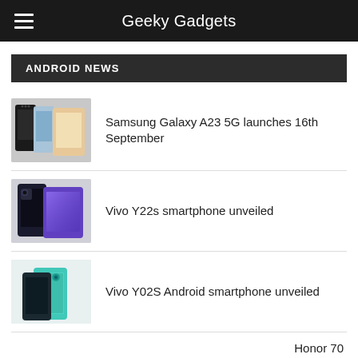Geeky Gadgets
ANDROID NEWS
Samsung Galaxy A23 5G launches 16th September
Vivo Y22s smartphone unveiled
Vivo Y02S Android smartphone unveiled
Honor 70 smartphon